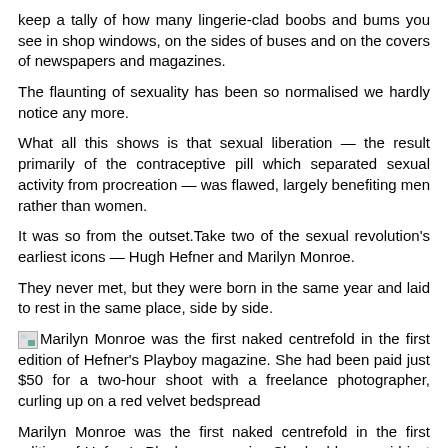keep a tally of how many lingerie-clad boobs and bums you see in shop windows, on the sides of buses and on the covers of newspapers and magazines.
The flaunting of sexuality has been so normalised we hardly notice any more.
What all this shows is that sexual liberation — the result primarily of the contraceptive pill which separated sexual activity from procreation — was flawed, largely benefiting men rather than women.
It was so from the outset.Take two of the sexual revolution's earliest icons — Hugh Hefner and Marilyn Monroe.
They never met, but they were born in the same year and laid to rest in the same place, side by side.
Marilyn Monroe was the first naked centrefold in the first edition of Hefner's Playboy magazine. She had been paid just $50 for a two-hour shoot with a freelance photographer, curling up on a red velvet bedspread
Marilyn Monroe was the first naked centrefold in the first edition of Hefner's Playboy magazine.She had been paid just $50 for a two-hour shoot with a freelance photographer, curling up on a red velvet bedspread